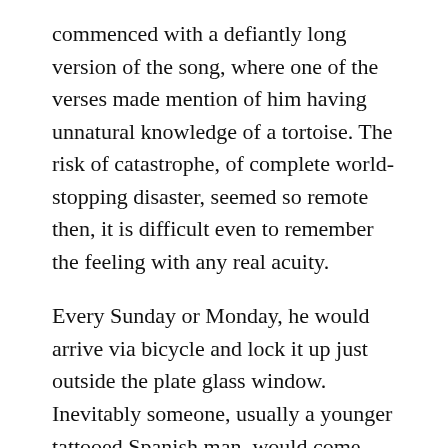commenced with a defiantly long version of the song, where one of the verses made mention of him having unnatural knowledge of a tortoise. The risk of catastrophe, of complete world-stopping disaster, seemed so remote then, it is difficult even to remember the feeling with any real acuity.
Every Sunday or Monday, he would arrive via bicycle and lock it up just outside the plate glass window. Inevitably someone, usually a younger tattooed Spanish man, would come over as he was doing so, and accost him, embrace him, call him “uncle.” Occasionally he shows up on the arm of one or another handsome middle-forties Spanish woman. Both kiss him passionately on